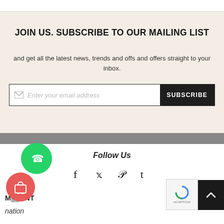JOIN US. SUBSCRIBE TO OUR MAILING LIST
and get all the latest news, trends and offs and offers straight to your inbox.
Enter your email address  SUBSCRIBE
Follow Us
[Figure (infographic): Social media icons: Facebook, Twitter, Pinterest, Tumblr]
M...UNT
...nation
[Figure (illustration): WhatsApp floating button (green circle with phone icon)]
[Figure (illustration): Cart floating button (red circle with basket icon)]
[Figure (illustration): Scroll to top button (dark square with up arrow) and reCAPTCHA badge]